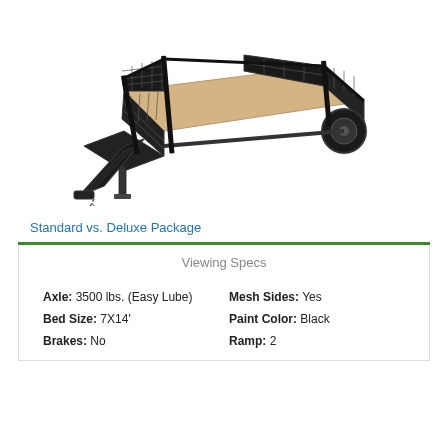[Figure (photo): Black utility trailer with mesh sides, wood floor bed, ramp gate, and tow hitch, photographed at an angle from the front-left.]
Standard vs. Deluxe Package
| Viewing Specs |  |
| --- | --- |
| Axle: 3500 lbs. (Easy Lube) | Mesh Sides: Yes |
| Bed Size: 7X14' | Paint Color: Black |
| Brakes: No | Ramp: 2 |